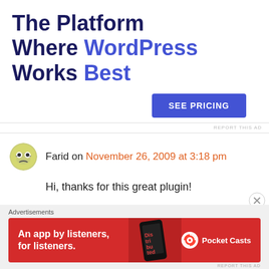[Figure (other): Advertisement banner: 'The Platform Where WordPress Works Best' with a blue 'SEE PRICING' button]
REPORT THIS AD
Farid on November 26, 2009 at 3:18 pm
Hi, thanks for this great plugin!
I started a translation in french, but there is a little difficulty :
Advertisements
[Figure (other): Red Pocket Casts advertisement banner: 'An app by listeners, for listeners.']